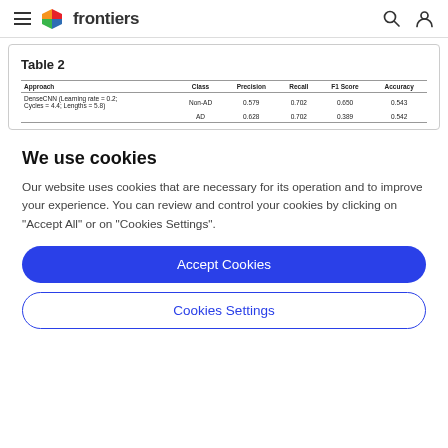frontiers
Table 2
| Approach | Class | Precision | Recall | F1 Score | Accuracy |
| --- | --- | --- | --- | --- | --- |
| DenseCNN (Learning rate = 0.2; Cycles = 4.4; Lengths = 5.8) | Non-AD | 0.579 | 0.702 | 0.650 | 0.543 |
|  | AD | 0.628 | 0.702 | 0.389 | 0.542 |
We use cookies
Our website uses cookies that are necessary for its operation and to improve your experience. You can review and control your cookies by clicking on "Accept All" or on "Cookies Settings".
Accept Cookies
Cookies Settings